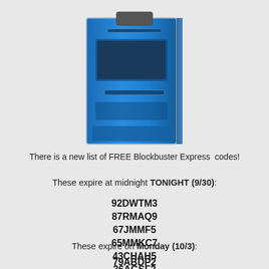[Figure (photo): Blockbuster Express kiosk machine, blue colored box-shaped vending kiosk, partially cropped at top]
There is a new list of FREE Blockbuster Express  codes!
These expire at midnight TONIGHT (9/30):
92DWTM3
87RMAQ9
67JMMF5
65MMKC7
43CHAH5
36AGSF2
These expire on Monday (10/3):
79ABDP2